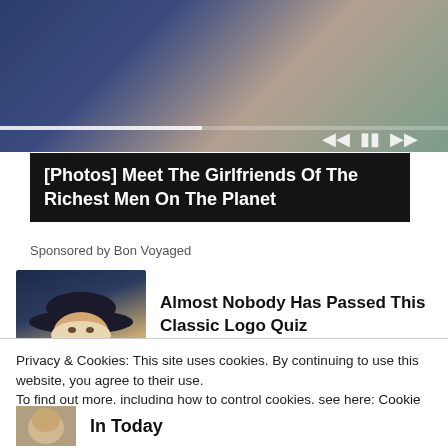[Figure (photo): Photo of a man in a navy suit and a woman in a lace outfit with pink accessories, appearing to be a couple. Media player controls visible at bottom of image.]
[Photos] Meet The Girlfriends Of The Richest Men On The Planet
Sponsored by Bon Voyaged
[Figure (photo): Thumbnail of an elderly man wearing a dark cowboy hat with white hair.]
Almost Nobody Has Passed This Classic Logo Quiz
Privacy & Cookies: This site uses cookies. By continuing to use this website, you agree to their use.
To find out more, including how to control cookies, see here: Cookie Policy
Close and accept
[Figure (photo): Thumbnail of a person with light hair at bottom of page.]
In Today